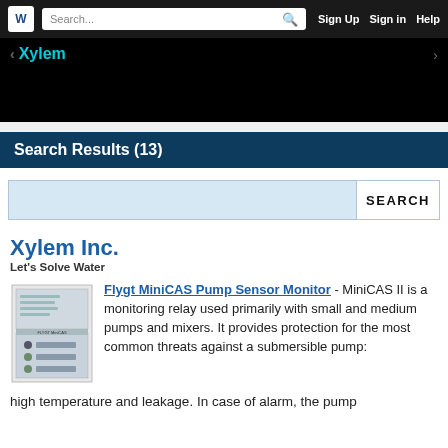Search... Sign Up Sign in Help
Xylem
Search Results (13)
Xylem Inc.
Let's Solve Water
[Figure (photo): Product image of Flygt MiniCAS Pump Sensor Monitor device]
Flygt MiniCAS Pump Sensor Monitor - MiniCAS II is a monitoring relay used primarily with small and medium pumps and mixers. It provides protection for the most common threats against a submersible pump: high temperature and leakage. In case of alarm, the pump